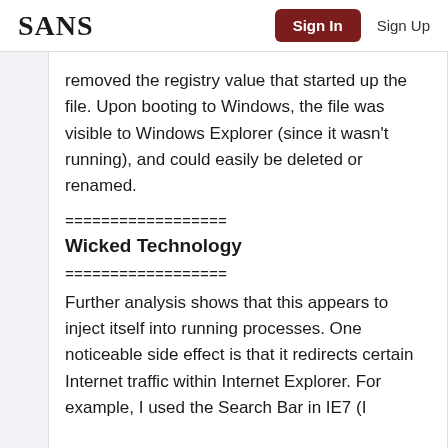SANS | Sign In | Sign Up
removed the registry value that started up the file. Upon booting to Windows, the file was visible to Windows Explorer (since it wasn't running), and could easily be deleted or renamed.
==================
Wicked Technology
==================
Further analysis shows that this appears to inject itself into running processes. One noticeable side effect is that it redirects certain Internet traffic within Internet Explorer. For example, I used the Search Bar in IE7 (I